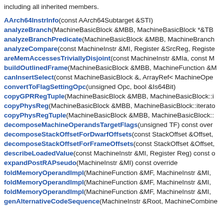including all inherited members.
AArch64InstrInfo(const AArch64Subtarget &STI)
analyzeBranch(MachineBasicBlock &MBB, MachineBasicBlock *&TB...
analyzeBranchPredicate(MachineBasicBlock &MBB, MachineBranch...
analyzeCompare(const MachineInstr &MI, Register &SrcReg, Registe...
areMemAccessesTriviallyDisjoint(const MachineInstr &MIa, const M...
buildOutlinedFrame(MachineBasicBlock &MBB, MachineFunction &M...
canInsertSelect(const MachineBasicBlock &, ArrayRef< MachineOpe...
convertToFlagSettingOpc(unsigned Opc, bool &Is64Bit)
copyGPRRegTuple(MachineBasicBlock &MBB, MachineBasicBlock::i...
copyPhysReg(MachineBasicBlock &MBB, MachineBasicBlock::iterato...
copyPhysRegTuple(MachineBasicBlock &MBB, MachineBasicBlock::...
decomposeMachineOperandsTargetFlags(unsigned TF) const over...
decomposeStackOffsetForDwarfOffsets(const StackOffset &Offset,...
decomposeStackOffsetForFrameOffsets(const StackOffset &Offset,...
describeLoadedValue(const MachineInstr &MI, Register Reg) const o...
expandPostRAPseudo(MachineInstr &MI) const override
foldMemoryOperandImpl(MachineFunction &MF, MachineInstr &MI,...
foldMemoryOperandImpl(MachineFunction &MF, MachineInstr &MI,...
foldMemoryOperandImpl(MachineFunction &MF, MachineInstr &MI,...
genAlternativeCodeSequence(MachineInstr &Root, MachineCombine...